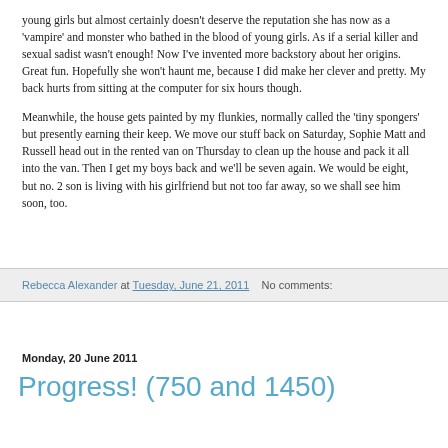young girls but almost certainly doesn't deserve the reputation she has now as a 'vampire' and monster who bathed in the blood of young girls. As if a serial killer and sexual sadist wasn't enough! Now I've invented more backstory about her origins. Great fun. Hopefully she won't haunt me, because I did make her clever and pretty. My back hurts from sitting at the computer for six hours though.
Meanwhile, the house gets painted by my flunkies, normally called the 'tiny spongers' but presently earning their keep. We move our stuff back on Saturday, Sophie Matt and Russell head out in the rented van on Thursday to clean up the house and pack it all into the van. Then I get my boys back and we'll be seven again. We would be eight, but no. 2 son is living with his girlfriend but not too far away, so we shall see him soon, too.
Rebecca Alexander at Tuesday, June 21, 2011   No comments:
Monday, 20 June 2011
Progress! (750 and 1450)